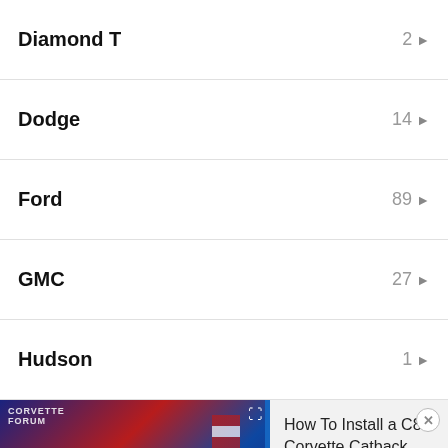Diamond T  2 ▶
Dodge  14 ▶
Ford  89 ▶
GMC  27 ▶
Hudson  1 ▶
[Figure (screenshot): Video thumbnail showing a Corvette C8 with text 'C8 EXHAUST INSTALL' and a play button, with a video expand icon. Corvette Forum branding visible.]
How To Install a C8 Corvette Catback Exhaust & High Wing Spoiler
Jeep  5 ▶